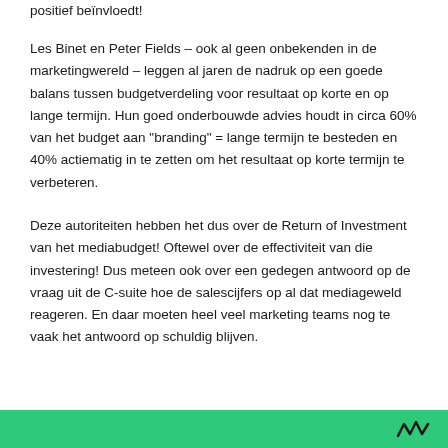positief beïnvloedt!
Les Binet en Peter Fields – ook al geen onbekenden in de marketingwereld – leggen al jaren de nadruk op een goede balans tussen budgetverdeling voor resultaat op korte en op lange termijn. Hun goed onderbouwde advies houdt in circa 60% van het budget aan "branding" = lange termijn te besteden en 40% actiematig in te zetten om het resultaat op korte termijn te verbeteren.
Deze autoriteiten hebben het dus over de Return of Investment van het mediabudget! Oftewel over de effectiviteit van die investering! Dus meteen ook over een gedegen antwoord op de vraag uit de C-suite hoe de salescijfers op al dat mediageweld reageren. En daar moeten heel veel marketing teams nog te vaak het antwoord op schuldig blijven.
[Figure (other): Green footer bar with a logo/icon on the right side]